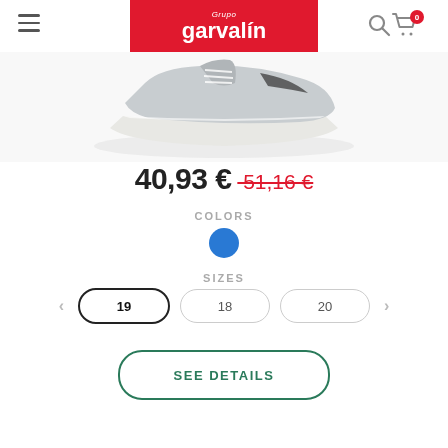Grupo garvalín
[Figure (photo): Partial view of a children's sneaker shoe in grey/white with black accents, shown from a low angle against a white background]
40,93 € 51,16 €
COLORS
[Figure (other): Blue circular color swatch]
SIZES
19  18  20
SEE DETAILS